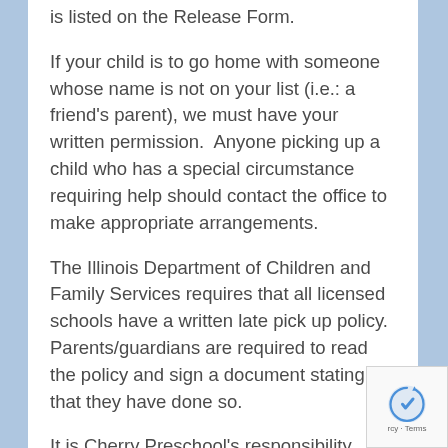is listed on the Release Form.
If your child is to go home with someone whose name is not on your list (i.e.: a friend's parent), we must have your written permission.  Anyone picking up a child who has a special circumstance requiring help should contact the office to make appropriate arrangements.
The Illinois Department of Children and Family Services requires that all licensed schools have a written late pick up policy.  Parents/guardians are required to read the policy and sign a document stating that they have done so.
It is Cherry Preschool's responsibility